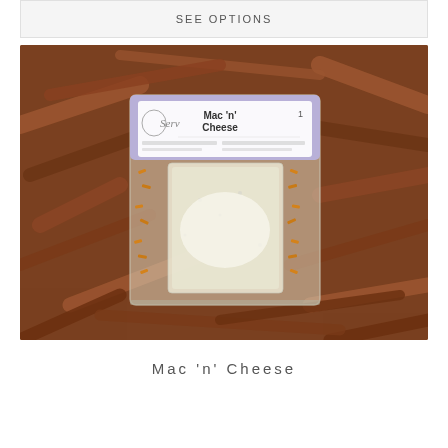SEE OPTIONS
[Figure (photo): A vacuum-sealed food package labeled 'Mac n Cheese' by Serv brand, sitting on a bed of wood chips/bark. The package contains pasta and a white powder/sauce mix visible through clear plastic packaging. A purple label with text details is visible at the top of the package.]
Mac 'n' Cheese